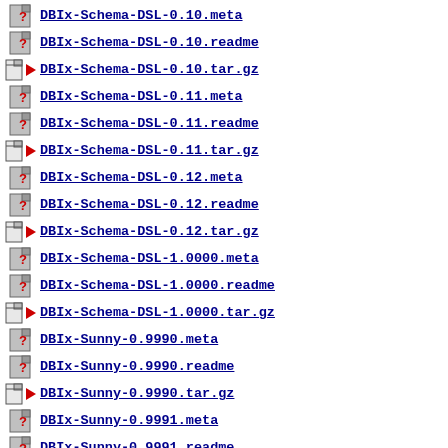DBIx-Schema-DSL-0.10.meta
DBIx-Schema-DSL-0.10.readme
DBIx-Schema-DSL-0.10.tar.gz
DBIx-Schema-DSL-0.11.meta
DBIx-Schema-DSL-0.11.readme
DBIx-Schema-DSL-0.11.tar.gz
DBIx-Schema-DSL-0.12.meta
DBIx-Schema-DSL-0.12.readme
DBIx-Schema-DSL-0.12.tar.gz
DBIx-Schema-DSL-1.0000.meta
DBIx-Schema-DSL-1.0000.readme
DBIx-Schema-DSL-1.0000.tar.gz
DBIx-Sunny-0.9990.meta
DBIx-Sunny-0.9990.readme
DBIx-Sunny-0.9990.tar.gz
DBIx-Sunny-0.9991.meta
DBIx-Sunny-0.9991.readme
DBIx-Sunny-0.9991.tar.gz